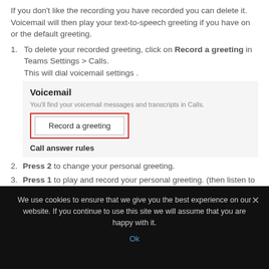If you don't like the recording you have recorded you can delete it. Voicemail will then play your text-to-speech greeting if you have on or the default greeting.
To delete your recorded greeting, click on Record a greeting in Teams Settings > Calls. This will dial voicemail settings .
[Figure (screenshot): Screenshot of Microsoft Teams Voicemail settings panel showing 'Voicemail' title, subtitle 'You'll find your voicemail messages and transcripts in Calls.', a 'Record a greeting' button highlighted with a red border, and 'Call answer rules' text below.]
Press 2 to change your personal greeting.
Press 1 to play and record your personal greeting. (then listen to it)
We use cookies to ensure that we give you the best experience on our website. If you continue to use this site we will assume that you are happy with it.